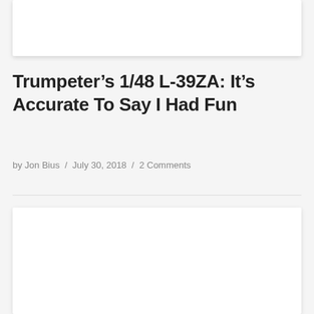[Figure (photo): Top image placeholder card, white background with shadow]
Trumpeter’s 1/48 L-39ZA: It’s Accurate To Say I Had Fun
by Jon Bius / July 30, 2018 / 2 Comments
[Figure (photo): Bottom image placeholder card, white background with shadow]